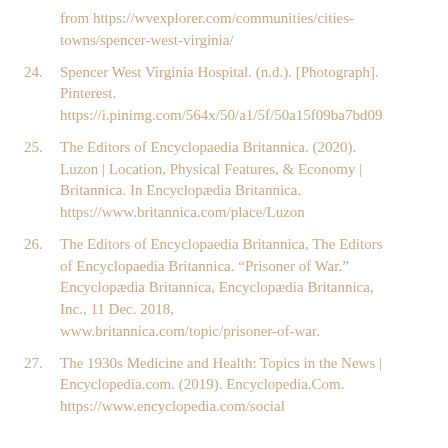from https://wvexplorer.com/communities/cities-towns/spencer-west-virginia/
24. Spencer West Virginia Hospital. (n.d.). [Photograph]. Pinterest.
https://i.pinimg.com/564x/50/a1/5f/50a15f09ba7bd09
25. The Editors of Encyclopaedia Britannica. (2020). Luzon | Location, Physical Features, & Economy | Britannica. In Encyclopædia Britannica.
https://www.britannica.com/place/Luzon
26. The Editors of Encyclopaedia Britannica, The Editors of Encyclopaedia Britannica. "Prisoner of War." Encyclopædia Britannica, Encyclopædia Britannica, Inc., 11 Dec. 2018,
www.britannica.com/topic/prisoner-of-war.
27. The 1930s Medicine and Health: Topics in the News | Encyclopedia.com. (2019). Encyclopedia.Com.
https://www.encyclopedia.com/social